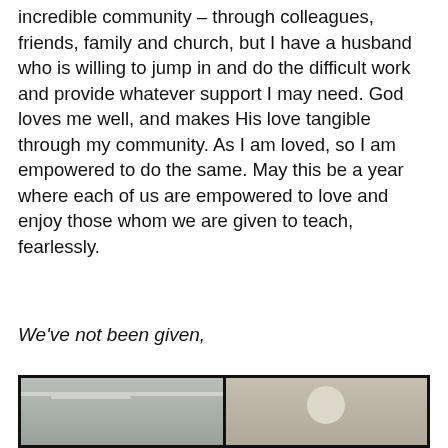incredible community – through colleagues, friends, family and church, but I have a husband who is willing to jump in and do the difficult work and provide whatever support I may need. God loves me well, and makes His love tangible through my community. As I am loved, so I am empowered to do the same. May this be a year where each of us are empowered to love and enjoy those whom we are given to teach, fearlessly.
We've not been given,
[Figure (photo): Two side-by-side photos: left shows an indoor room with ceiling lights visible; right shows an elderly bald person in a light-colored indoor setting.]